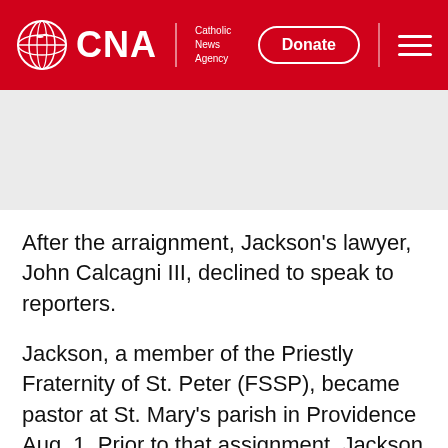[Figure (logo): CNA Catholic News Agency logo with globe icon on red header background]
[Figure (photo): Gray placeholder image area below header]
After the arraignment, Jackson's lawyer, John Calcagni III, declined to speak to reporters.
Jackson, a member of the Priestly Fraternity of St. Peter (FSSP), became pastor at St. Mary's parish in Providence Aug. 1. Prior to that assignment, Jackson spent 15 years at the FSSP apostolate at Our Lady of Mount Carmel Catholic Church in Littleton, Colorado.